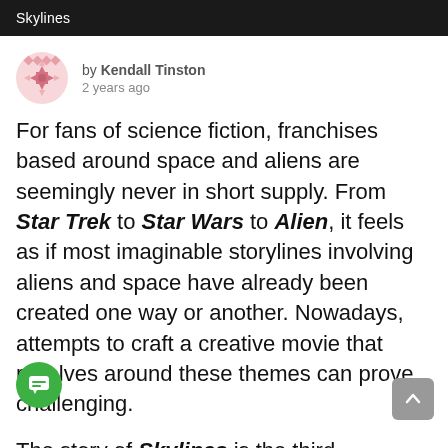Skylines
by Kendall Tinston
2 years ago
For fans of science fiction, franchises based around space and aliens are seemingly never in short supply. From Star Trek to Star Wars to Alien, it feels as if most imaginable storylines involving aliens and space have already been created one way or another. Nowadays, attempts to craft a creative movie that revolves around these themes can prove challenging.
The story of Skylines is the third installment in the Skyline franchise. It follows Captain Rose Corley as she leads a team of soldiers on a mission to an alien planet in attempts to...